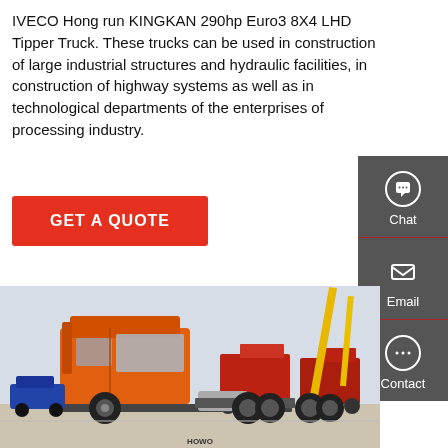IVECO Hong run KINGKAN 290hp Euro3 8X4 LHD Tipper Truck. These trucks can be used in construction of large industrial structures and hydraulic facilities, in construction of highway systems as well as in technological departments of the enterprises of processing industry.
GET A QUOTE
[Figure (photo): Orange IVECO/HOWO heavy-duty truck (tractor/tipper) photographed at an outdoor truck exhibition with cranes and other red trucks in the background.]